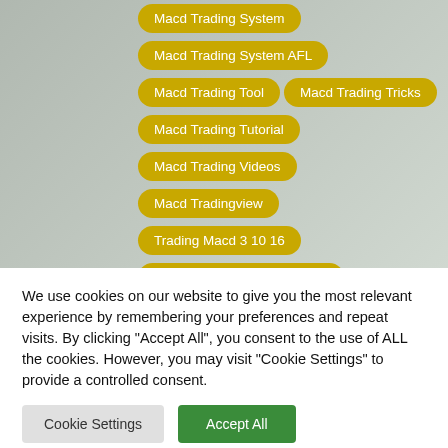Macd Trading System
Macd Trading System AFL
Macd Trading Tool
Macd Trading Tricks
Macd Trading Tutorial
Macd Trading Videos
Macd Tradingview
Trading Macd 3 10 16
Trading Macd and Stochastic
Trading the MACD Crossover
What Is Macd Trading
Which MACD Parameters for Day Trading
We use cookies on our website to give you the most relevant experience by remembering your preferences and repeat visits. By clicking "Accept All", you consent to the use of ALL the cookies. However, you may visit "Cookie Settings" to provide a controlled consent.
Cookie Settings
Accept All